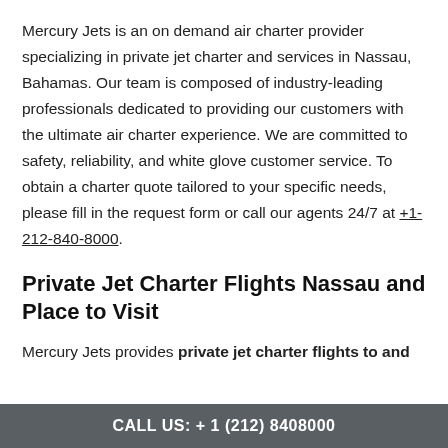Mercury Jets is an on demand air charter provider specializing in private jet charter and services in Nassau, Bahamas. Our team is composed of industry-leading professionals dedicated to providing our customers with the ultimate air charter experience. We are committed to safety, reliability, and white glove customer service. To obtain a charter quote tailored to your specific needs, please fill in the request form or call our agents 24/7 at +1-212-840-8000.
Private Jet Charter Flights Nassau and Place to Visit
Mercury Jets provides private jet charter flights to and
CALL US: + 1 (212) 8408000